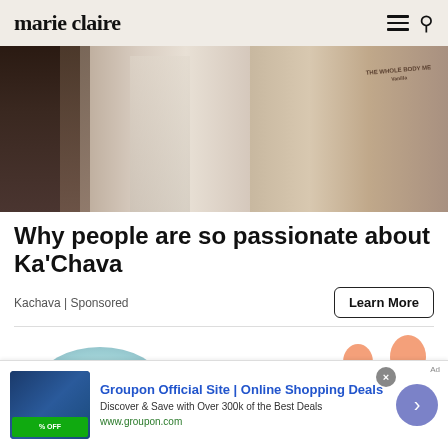marie claire
[Figure (photo): Close-up of a person with tattoos holding a Ka'Chava 'The Whole Body Meal' product bag, showing long wavy blonde hair and a white lace top]
Why people are so passionate about Ka'Chava
Kachava | Sponsored
Learn More
[Figure (illustration): Illustrated figures of people, partial view of animated/illustrated characters. Below: Groupon banner advertisement.]
Groupon Official Site | Online Shopping Deals
Discover & Save with Over 300k of the Best Deals
www.groupon.com